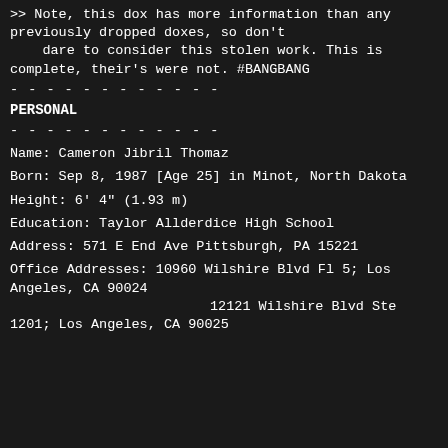>> Note, this dox has more information than any previously dropped doxes, so don't
    dare to consider this stolen work. This is complete, their's were not. #BANGBANG
- - - - - - - - - - - -
PERSONAL
- - - - - - - - - - - -
Name: Cameron Jibril Thomaz
Born: Sep 8, 1987 [Age 25] in Minot, North Dakota
Height: 6' 4" (1.93 m)
Education: Taylor Allderdice High School
Address: 571 E End Ave Pittsburgh, PA 15221
Office Addresses: 10960 Wilshire Blvd Fl 5; Los Angeles, CA 90024
                  12121 Wilshire Blvd Ste 1201; Los Angeles, CA 90025